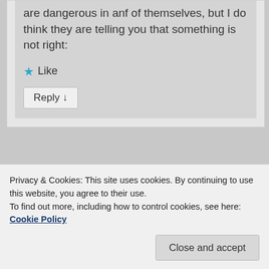are dangerous in anf of themselves, but I do think they are telling you that something is not right:
★ Like
Reply ↓
[Figure (screenshot): Partial comment card with avatar area and gray placeholder image]
Long-term histamine sufferer. Just wanted to
Privacy & Cookies: This site uses cookies. By continuing to use this website, you agree to their use.
To find out more, including how to control cookies, see here: Cookie Policy
Close and accept